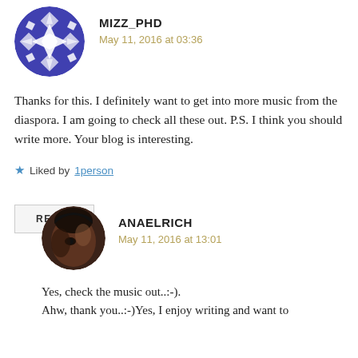[Figure (illustration): Round avatar with blue/white geometric snowflake/diamond pattern for user MIZZ_PHD]
MIZZ_PHD
May 11, 2016 at 03:36
Thanks for this. I definitely want to get into more music from the diaspora. I am going to check all these out. P.S. I think you should write more. Your blog is interesting.
★ Liked by 1person
REPLY
[Figure (photo): Round avatar photo of a person (dark complexion, face partially visible) for user ANAELRICH]
ANAELRICH
May 11, 2016 at 13:01
Yes, check the music out..:-). Ahw, thank you..:-)Yes, I enjoy writing and want to